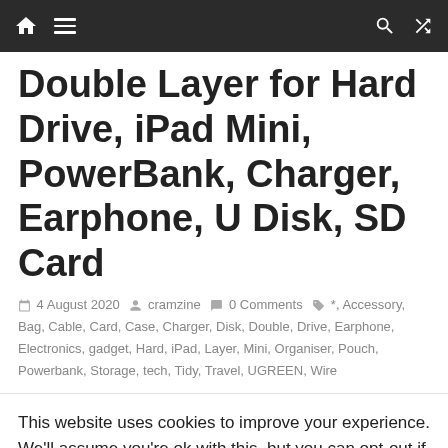Navigation bar with home, menu, search, and shuffle icons
Double Layer for Hard Drive, iPad Mini, PowerBank, Charger, Earphone, U Disk, SD Card
4 August 2020  cramzine  0 Comments  *, Accessory, Bag, Cable, Card, Case, Charger, Disk, Double, Drive, Earphone, Electronics, gadget, Hard, iPad, Layer, Mini, Organiser, Pouch, Powerbank, Storage, tech, Tidy, Travel, UGREEN, Wire
This website uses cookies to improve your experience. We'll assume you're ok with this, but you can opt-out if you wish.
Cookie settings  ACCEPT